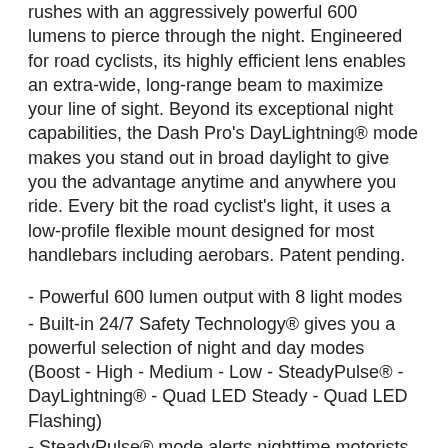rushes with an aggressively powerful 600 lumens to pierce through the night. Engineered for road cyclists, its highly efficient lens enables an extra-wide, long-range beam to maximize your line of sight. Beyond its exceptional night capabilities, the Dash Pro's DayLightning® mode makes you stand out in broad daylight to give you the advantage anytime and anywhere you ride. Every bit the road cyclist's light, it uses a low-profile flexible mount designed for most handlebars including aerobars. Patent pending.
- Powerful 600 lumen output with 8 light modes
- Built-in 24/7 Safety Technology® gives you a powerful selection of night and day modes (Boost - High - Medium - Low - SteadyPulse® - DayLightning® - Quad LED Steady - Quad LED Flashing)
- SteadyPulse® mode alerts nighttime motorists with pulses while constantly lighting your path
- DayLightning® mode emits lightning-like flashes to highlight your presence in the brightest of daytime hours
- Enhanced Cycling Optics™ (ECO) expands your visibility